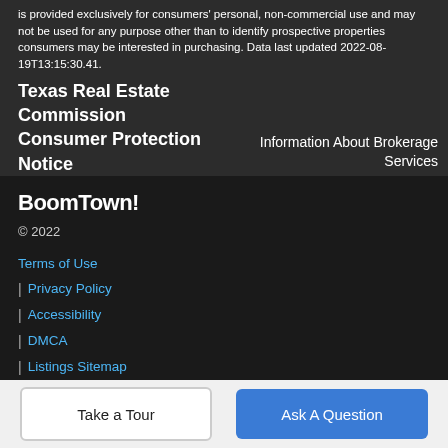is provided exclusively for consumers' personal, non-commercial use and may not be used for any purpose other than to identify prospective properties consumers may be interested in purchasing. Data last updated 2022-08-19T13:15:30.41.
Texas Real Estate Commission Consumer Protection Notice
Information About Brokerage Services
BoomTown!
© 2022
Terms of Use
| Privacy Policy
| Accessibility
| DMCA
| Listings Sitemap
Take a Tour
Ask A Question